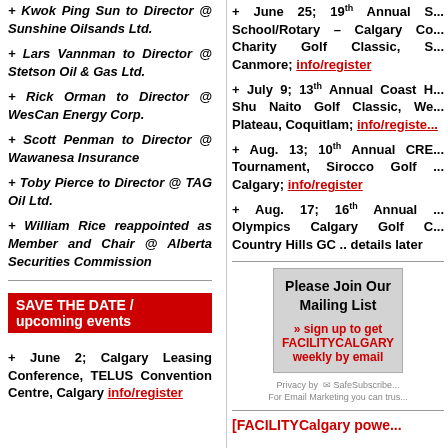+ Kwok Ping Sun to Director @ Sunshine Oilsands Ltd.
+ Lars Vannman to Director @ Stetson Oil & Gas Ltd.
+ Rick Orman to Director @ WesCan Energy Corp.
+ Scott Penman to Director @ Wawanesa Insurance
+ Toby Pierce to Director @ TAG Oil Ltd.
+ William Rice reappointed as Member and Chair @ Alberta Securities Commission
+ June 25; 19th Annual School/Rotary – Calgary Co... Charity Golf Classic, S... Canmore; info/register
+ July 9; 13th Annual Coast H... Shu Naito Golf Classic, We... Plateau, Coquitlam; info/register
+ Aug. 13; 10th Annual CRE... Tournament, Sirocco Golf ... Calgary; info/register
+ Aug. 17; 16th Annual ... Olympics Calgary Golf C... Country Hills GC .. details later
SAVE THE DATE / upcoming events
+ June 2; Calgary Leasing Conference, TELUS Convention Centre, Calgary info/register
[Figure (other): Please Join Our Mailing List box with sign up CTA and SafeSubscribe privacy notice]
FACILITYCalgary powered by...